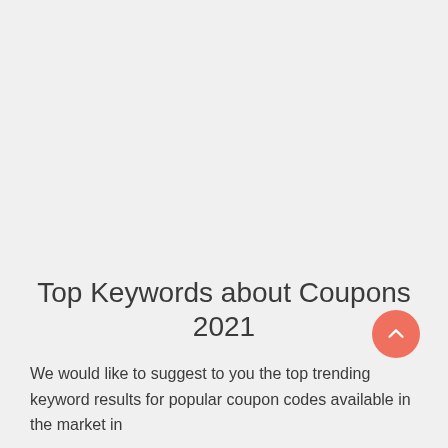[Figure (other): A salmon/coral colored circular scroll-to-top button with a white chevron/caret arrow pointing upward, positioned in the lower-right area of the page.]
Top Keywords about Coupons 2021
We would like to suggest to you the top trending keyword results for popular coupon codes available in the market in